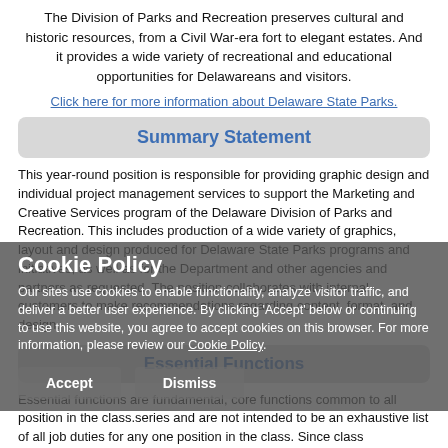The Division of Parks and Recreation preserves cultural and historic resources, from a Civil War-era fort to elegant estates. And it provides a wide variety of recreational and educational opportunities for Delawareans and visitors.
Click here for more information about Delaware State Parks.
Summary Statement
This year-round position is responsible for providing graphic design and individual project management services to support the Marketing and Creative Services program of the Delaware Division of Parks and Recreation. This includes production of a wide variety of graphics, layout and design produced for Delaware State Parks programs and initiatives, as well as for the Department and other agencies and partners as requested. The position collaborates with internal customers to make recommendations regarding content, format, and design.
Essential Functions
Essential functions are fundamental, core functions common to all position in the class.series and are not intended to be an exhaustive list of all job duties for any one position in the class. Since class specifications are descriptive and not restrictive, incumbents can complete job duties of similar kind not
Cookie Policy
Our sites use cookies to enable functionality, analyze visitor traffic, and deliver a better user experience. By clicking 'Accept' below or continuing to use this website, you agree to accept cookies on this browser. For more information, please review our Cookie Policy.